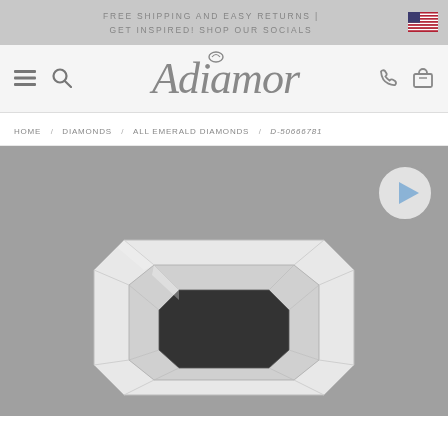FREE SHIPPING AND EASY RETURNS | GET INSPIRED! SHOP OUR SOCIALS
[Figure (logo): Adiamor script logo with ring icon]
HOME / DIAMONDS / ALL EMERALD DIAMONDS / D-50666781
[Figure (photo): Emerald cut diamond product photo on grey background with play button overlay]